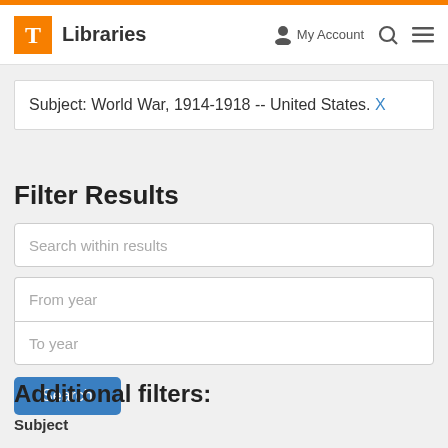T Libraries | My Account | Search | Menu
Subject: World War, 1914-1918 -- United States. X
Filter Results
Search within results
From year
To year
Search
Additional filters:
Subject